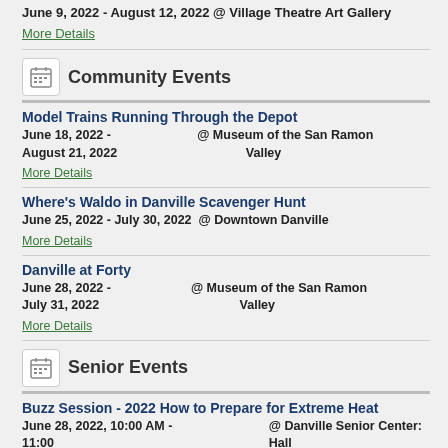June 9, 2022 - August 12, 2022 @ Village Theatre Art Gallery
More Details
Community Events
Model Trains Running Through the Depot
June 18, 2022 - August 21, 2022 @ Museum of the San Ramon Valley
More Details
Where's Waldo in Danville Scavenger Hunt
June 25, 2022 - July 30, 2022 @ Downtown Danville
More Details
Danville at Forty
June 28, 2022 - July 31, 2022 @ Museum of the San Ramon Valley
More Details
Senior Events
Buzz Session - 2022 How to Prepare for Extreme Heat
June 28, 2022, 10:00 AM - 11:00 AM @ Danville Senior Center: Hall C